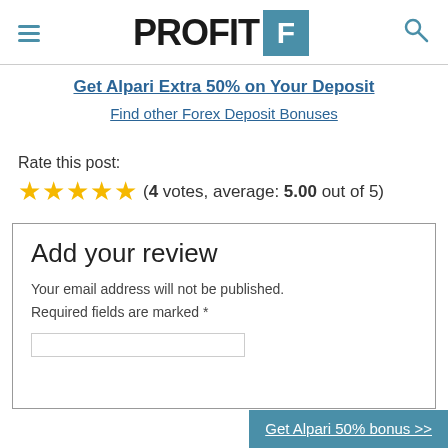PROFIT F (logo)
Get Alpari Extra 50% on Your Deposit
Find other Forex Deposit Bonuses
Rate this post:
(4 votes, average: 5.00 out of 5)
Add your review
Your email address will not be published. Required fields are marked *
Get Alpari 50% bonus >>